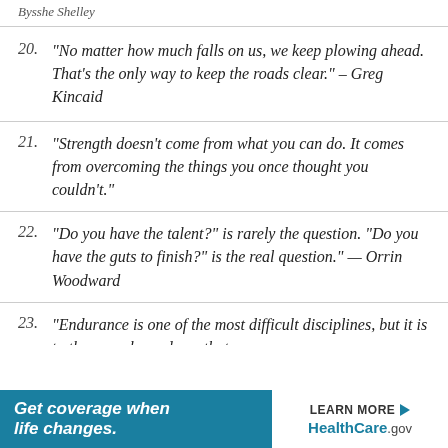Bysshe Shelley
20. “No matter how much falls on us, we keep plowing ahead. That’s the only way to keep the roads clear.” – Greg Kincaid
21. “Strength doesn’t come from what you can do. It comes from overcoming the things you once thought you couldn’t.”
22. “Do you have the talent?” is rarely the question. “Do you have the guts to finish?” is the real question.” — Orrin Woodward
23. “Endurance is one of the most difficult disciplines, but it is to the one who endures that…
[Figure (infographic): Advertisement banner for HealthCare.gov reading 'Get coverage when life changes.' with a 'LEARN MORE' button and HealthCare.gov logo on white background, set on teal/blue background.]